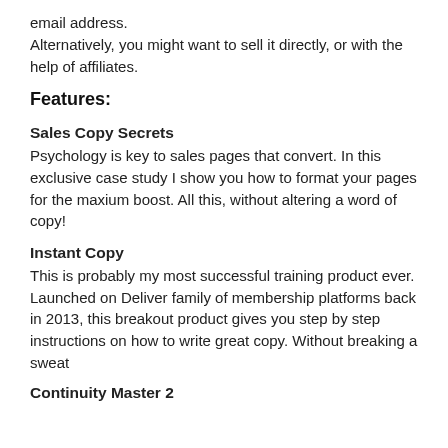email address.
Alternatively, you might want to sell it directly, or with the help of affiliates.
Features:
Sales Copy Secrets
Psychology is key to sales pages that convert. In this exclusive case study I show you how to format your pages for the maxium boost. All this, without altering a word of copy!
Instant Copy
This is probably my most successful training product ever. Launched on Deliver family of membership platforms back in 2013, this breakout product gives you step by step instructions on how to write great copy. Without breaking a sweat
Continuity Master 2